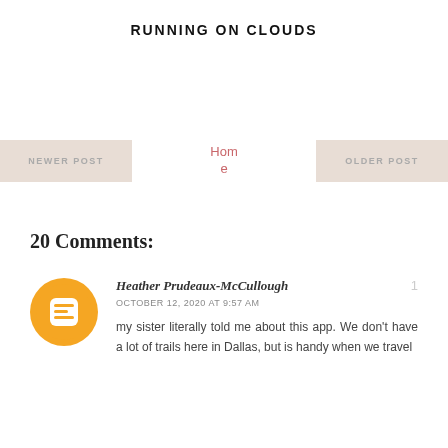RUNNING ON CLOUDS
Home
NEWER POST
OLDER POST
20 Comments:
Heather Prudeaux-McCullough
OCTOBER 12, 2020 AT 9:57 AM
my sister literally told me about this app. We don't have a lot of trails here in Dallas, but is handy when we travel